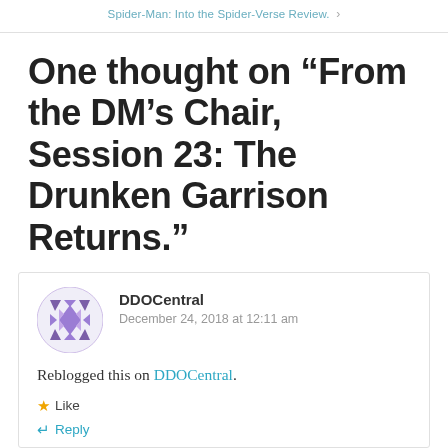Spider-Man: Into the Spider-Verse Review. >
One thought on “From the DM’s Chair, Session 23: The Drunken Garrison Returns.”
DDOCentral
December 24, 2018 at 12:11 am
Reblogged this on DDOCentral.
★ Like
↵ Reply